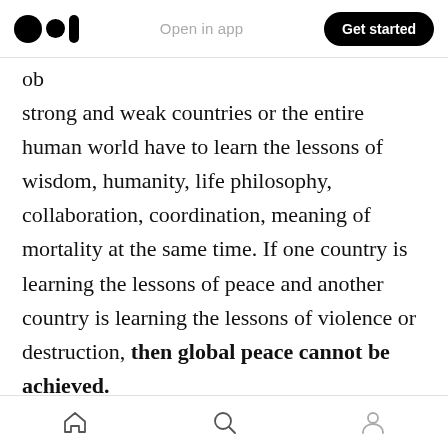Open in app | Get started
ob strong and weak countries or the entire human world have to learn the lessons of wisdom, humanity, life philosophy, collaboration, coordination, meaning of mortality at the same time. If one country is learning the lessons of peace and another country is learning the lessons of violence or destruction, then global peace cannot be achieved.

Who can start this training? United nations can start this initiative. There should be cross-country, cross-cultural, cross-philosophy
Home | Search | Profile